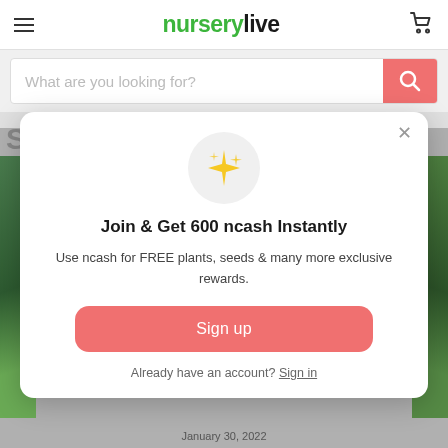nurserylive
[Figure (screenshot): Search bar with placeholder text 'What are you looking for?' and a coral/salmon colored search button with magnifying glass icon]
[Figure (infographic): Modal popup dialog with sparkle emoji icon, promotional text to join and get 600 ncash, sign up button, and sign in link]
January 30, 2022